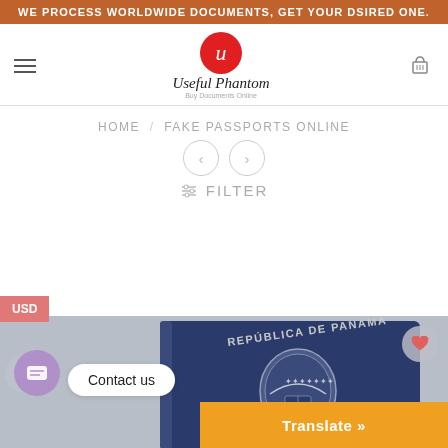WE PROCESS WORLDWIDE DOCUMENTS, GET YOUR DSIRED ONE.
[Figure (logo): Useful Phantom logo with red circle containing cursive u, brand name in script font, tagline Buy Documents Online]
HOME / FAKE PASSPORTS ONLINE
FILTER
USD
[Figure (photo): Panama passport (República de Panamá) on gray surface, showing the coat of arms and text PASAPORTE]
Contact us
Translate »